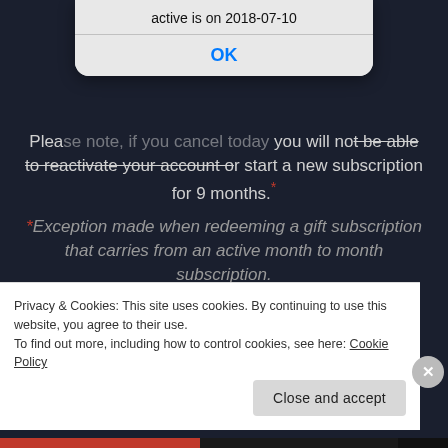[Figure (screenshot): Mobile system alert dialog box showing 'active is on 2018-07-10' with an OK button, overlaid on a dark website background]
Please note, if you cancel today you will not be able to reactivate your account or start a new subscription for 9 months.*
*Exception made when redeeming a gift subscription that carries from an active month to month subscription.
Your MoviePass account will remain active until the end of
Privacy & Cookies: This site uses cookies. By continuing to use this website, you agree to their use.
To find out more, including how to control cookies, see here: Cookie Policy
Close and accept